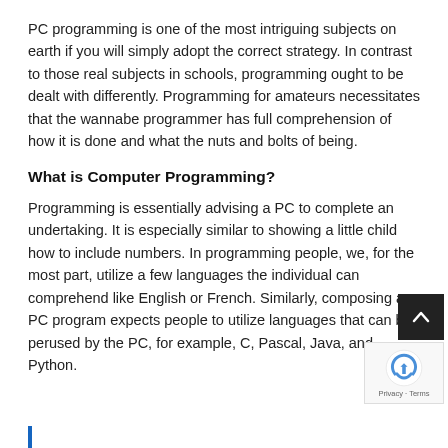PC programming is one of the most intriguing subjects on earth if you will simply adopt the correct strategy. In contrast to those real subjects in schools, programming ought to be dealt with differently. Programming for amateurs necessitates that the wannabe programmer has full comprehension of how it is done and what the nuts and bolts of being.
What is Computer Programming?
Programming is essentially advising a PC to complete an undertaking. It is especially similar to showing a little child how to include numbers. In programming people, we, for the most part, utilize a few languages the individual can comprehend like English or French. Similarly, composing a PC program expects people to utilize languages that can be perused by the PC, for example, C, Pascal, Java, and Python.